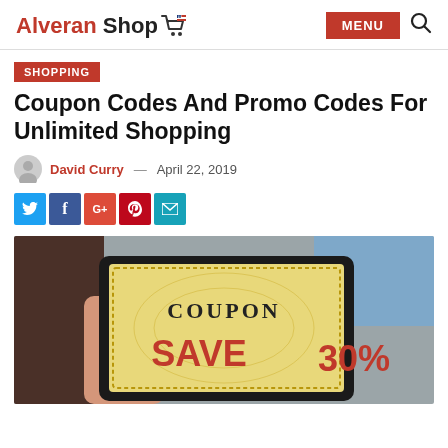Alveran Shop
SHOPPING
Coupon Codes And Promo Codes For Unlimited Shopping
David Curry — April 22, 2019
[Figure (photo): A person holding a tablet displaying a coupon with the text COUPON SAVE 30%]
Social share buttons: Twitter, Facebook, Google+, Pinterest, Email